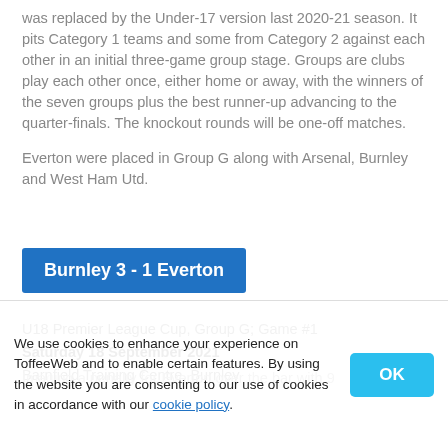was replaced by the Under-17 version last 2020-21 season. It pits Category 1 teams and some from Category 2 against each other in an initial three-game group stage. Groups are clubs play each other once, either home or away, with the winners of the seven groups plus the best runner-up advancing to the quarter-finals. The knockout rounds will be one-off matches.
Everton were placed in Group G along with Arsenal, Burnley and West Ham Utd.
Burnley 3 - 1 Everton
U18 Premier League Cup, Group G; Game #1
Saturday 18 September 2021
Barnfield Training Centre, Burnley
Imaging a penalty for Everton over the bar with 9